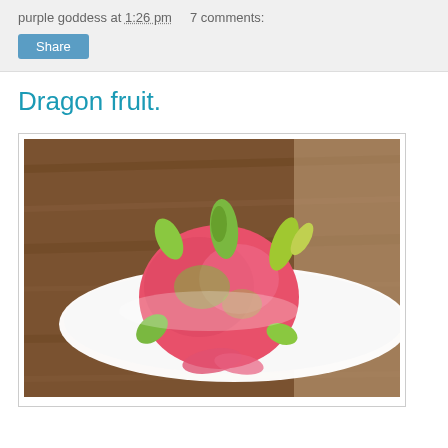purple goddess at 1:26 pm   7 comments:
Share
Dragon fruit.
[Figure (photo): A pink dragon fruit with green leafy protrusions sitting on a white oval plate, photographed on a wooden surface background.]